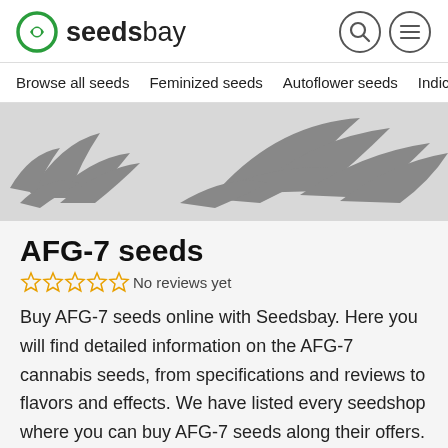seedsbay
Browse all seeds   Feminized seeds   Autoflower seeds   Indica
[Figure (photo): Greyscale product image of cannabis plant/leaves for AFG-7 seeds]
AFG-7 seeds
No reviews yet
Buy AFG-7 seeds online with Seedsbay. Here you will find detailed information on the AFG-7 cannabis seeds, from specifications and reviews to flavors and effects. We have listed every seedshop where you can buy AFG-7 seeds along their offers. Compare prices on AFG-7 seeds and get the best deal for yourself!